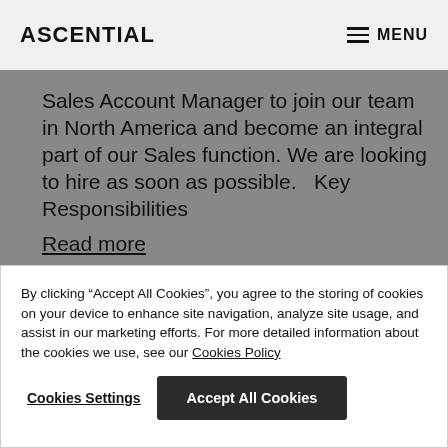ASCENTIAL   MENU
Sales Account Manager to join our team in North America and become an integral part of our Sales function. We are looking to hire as soon as possible.   Key Responsibilities
Read more
By clicking “Accept All Cookies”, you agree to the storing of cookies on your device to enhance site navigation, analyze site usage, and assist in our marketing efforts. For more detailed information about the cookies we use, see our Cookies Policy
Cookies Settings   Accept All Cookies